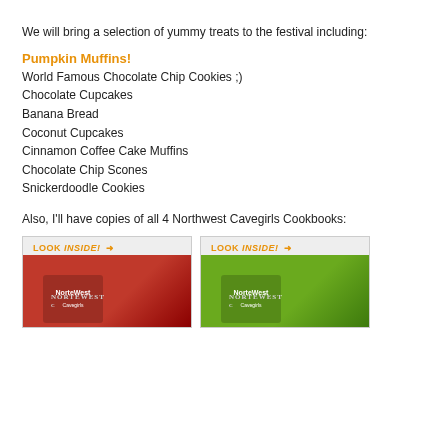We will bring a selection of yummy treats to the festival including:
Pumpkin Muffins!
World Famous Chocolate Chip Cookies ;)
Chocolate Cupcakes
Banana Bread
Coconut Cupcakes
Cinnamon Coffee Cake Muffins
Chocolate Chip Scones
Snickerdoodle Cookies
Also, I'll have copies of all 4 Northwest Cavegirls Cookbooks:
[Figure (photo): Two Northwest Cavegirls Cookbook covers with 'LOOK INSIDE!' banners, one with a red/brown background and one with a green/yellow background]